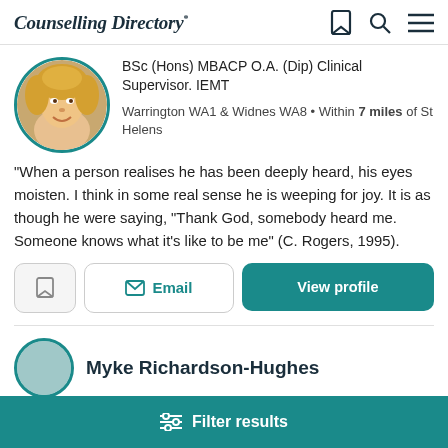Counselling Directory
BSc (Hons) MBACP O.A. (Dip) Clinical Supervisor. IEMT
Warrington WA1 & Widnes WA8 • Within 7 miles of St Helens
“When a person realises he has been deeply heard, his eyes moisten. I think in some real sense he is weeping for joy. It is as though he were saying, “Thank God, somebody heard me. Someone knows what it’s like to be me” (C. Rogers, 1995).
Myke Richardson-Hughes